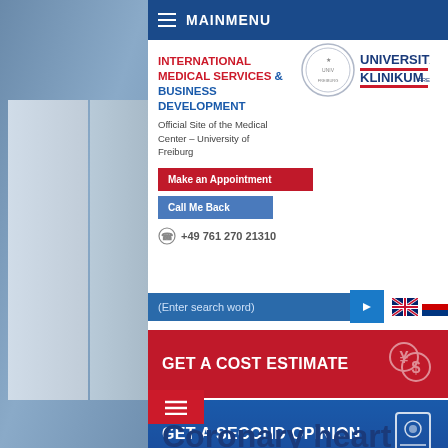MAINMENU
INTERNATIONAL MEDICAL SERVICES & BUSINESS DEVELOPMENT
Official Site of the Medical Center – University of Freiburg
Make an Appointment
Call Me Back
+49 761 270 21310
(Enter search word)
GET A COST ESTIMATE
GET A SECOND OPINION
Coronary heart